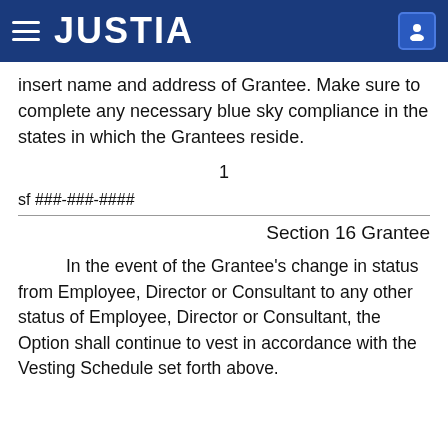JUSTIA
insert name and address of Grantee. Make sure to complete any necessary blue sky compliance in the states in which the Grantees reside.
1
sf ###-###-####
Section 16 Grantee
In the event of the Grantee's change in status from Employee, Director or Consultant to any other status of Employee, Director or Consultant, the Option shall continue to vest in accordance with the Vesting Schedule set forth above.